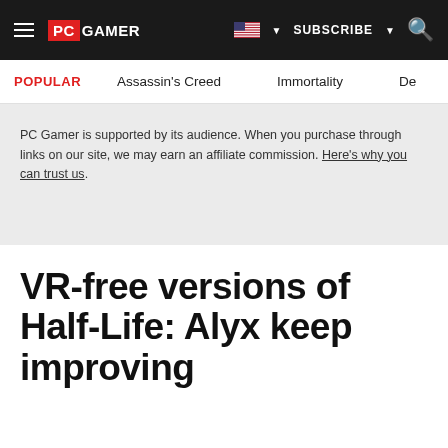PC GAMER | SUBSCRIBE
POPULAR   Assassin's Creed   Immortality   De
PC Gamer is supported by its audience. When you purchase through links on our site, we may earn an affiliate commission. Here's why you can trust us.
VR-free versions of Half-Life: Alyx keep improving